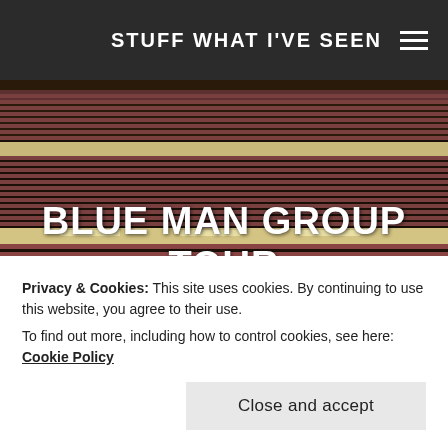STUFF WHAT I'VE SEEN
[Figure (photo): Interior of a large theater/concert hall with rows of red/mauve seats visible across multiple balcony tiers, viewed from stage level. The hall is empty and lit with warm overhead lighting.]
BLUE MAN GROUP TOUR 2015 – KALAMAZOO, MI
Privacy & Cookies: This site uses cookies. By continuing to use this website, you agree to their use. To find out more, including how to control cookies, see here: Cookie Policy
Close and accept